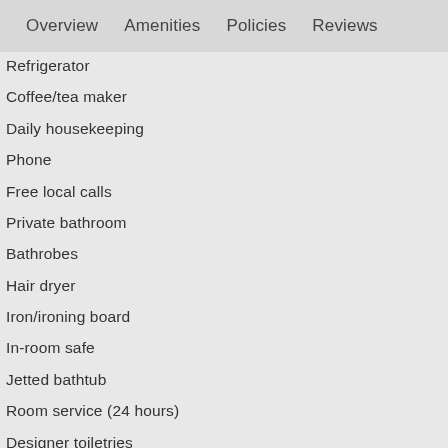Overview   Amenities   Policies   Reviews
Refrigerator
Coffee/tea maker
Daily housekeeping
Phone
Free local calls
Private bathroom
Bathrobes
Hair dryer
Iron/ironing board
In-room safe
Jetted bathtub
Room service (24 hours)
Designer toiletries
Desk
In-room climate control (air conditioning)
Premium bedding
Separate sitting area